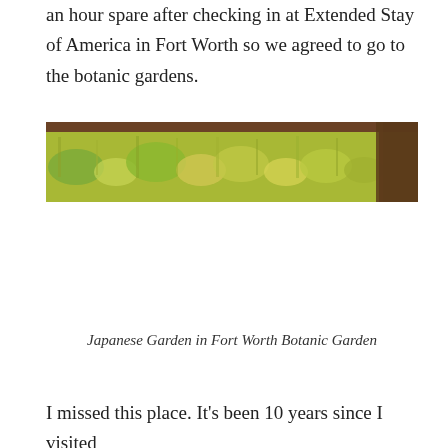an hour spare after checking in at Extended Stay of America in Fort Worth so we agreed to go to the botanic gardens.
[Figure (photo): A wide panoramic photograph taken from under a wooden pergola or shelter, looking out over a lush garden landscape with tall grasses and green foliage. A wooden post is visible on the right side.]
Japanese Garden in Fort Worth Botanic Garden
I missed this place. It's been 10 years since I visited